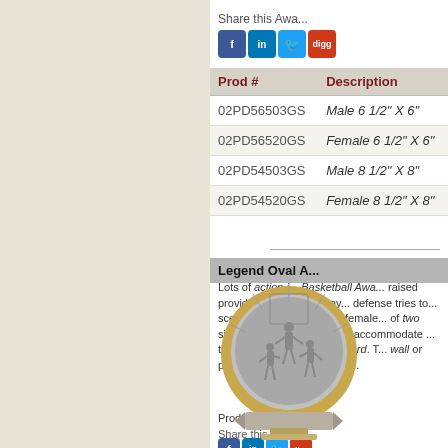Production lea...
Share this Awa...
| Prod # | Description |
| --- | --- |
| 02PD56503GS | Male 6 1/2" X 6" |
| 02PD56520GS | Female 6 1/2" X 6" |
| 02PD54503GS | Male 8 1/2" X 8" |
| 02PD54520GS | Female 8 1/2" X 8" |
[Figure (photo): Legend Oval Award — an oval-shaped basketball plaque/resin award with silver raised relief scene of basketball players and gold border frame with ribbon banner base.]
Legend Oval A...
Lots of action i... Basketball Awa... raised providin... basketball play... defense tries to... scene. These o... male or female... of two sizes, 6... area at the bott... accommodate ... the gold and pe... of the award. T... wall or placed o... stand. Oval Res...
Production lea...
Share this Awa...